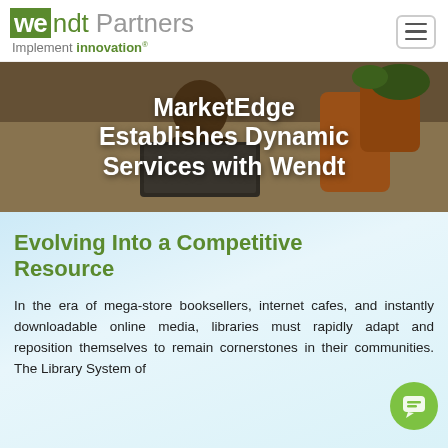wendt Partners — Implement innovation®
[Figure (photo): Person working on laptop at a table, hero banner with text overlay: MarketEdge Establishes Dynamic Services with Wendt]
MarketEdge Establishes Dynamic Services with Wendt
Evolving Into a Competitive Resource
In the era of mega-store booksellers, internet cafes, and instantly downloadable online media, libraries must rapidly adapt and reposition themselves to remain cornerstones in their communities. The Library System of